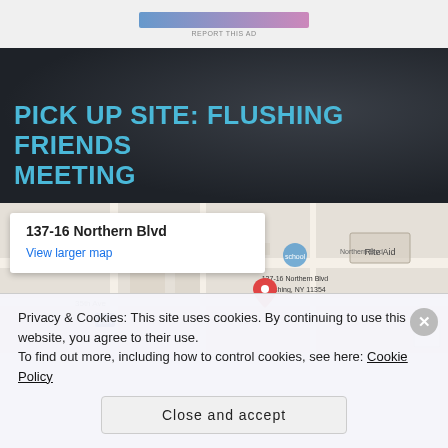[Figure (screenshot): Gradient bar (blue to pink) with 'REPORT THIS AD' text below]
PICK UP SITE: FLUSHING FRIENDS MEETING
[Figure (map): Google Maps embed showing 137-16 Northern Blvd, Flushing, NY 11354 with a map popup and location pin]
Privacy & Cookies: This site uses cookies. By continuing to use this website, you agree to their use.
To find out more, including how to control cookies, see here: Cookie Policy
Close and accept